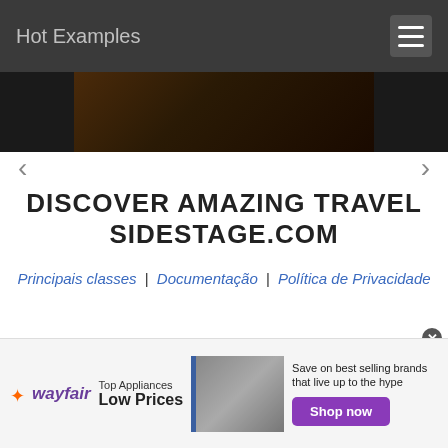Hot Examples
[Figure (photo): Dark brown/reddish image at top of page in a carousel slider]
DISCOVER AMAZING TRAVEL SIDESTAGE.COM
Principais classes | Documentação | Política de Privacidade
PHP | C# (CSharp) | Java | Golang | C++ (Cpp) | Python | JavaScript | TypeScript
[Figure (photo): Wayfair advertisement banner: Top Appliances Low Prices, Save on best selling brands that live up to the hype, Shop now button]